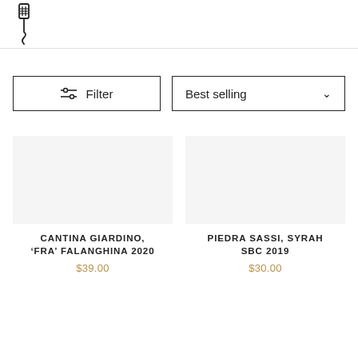[Figure (logo): Wine bottle opener / corkscrew icon in outline style]
Filter
Best selling
CANTINA GIARDINO, 'FRA' FALANGHINA 2020
$39.00
PIEDRA SASSI, SYRAH SBC 2019
$30.00